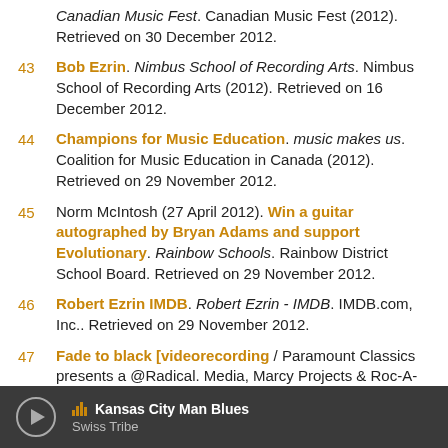Canadian Music Fest. Canadian Music Fest (2012). Retrieved on 30 December 2012.
43 Bob Ezrin. Nimbus School of Recording Arts. Nimbus School of Recording Arts (2012). Retrieved on 16 December 2012.
44 Champions for Music Education. music makes us. Coalition for Music Education in Canada (2012). Retrieved on 29 November 2012.
45 Norm McIntosh (27 April 2012). Win a guitar autographed by Bryan Adams and support Evolutionary. Rainbow Schools. Rainbow District School Board. Retrieved on 29 November 2012.
46 Robert Ezrin IMDB. Robert Ezrin - IMDB. IMDB.com, Inc.. Retrieved on 29 November 2012.
47 Fade to black [videorecording / Paramount Classics presents a @Radical. Media, Marcy Projects & Roc-A-Fella Records production, a Shawn Carter film ; produced by Bob Ezrin, Rich Kleiman, Justin Wilkes ; directed by Pat Paulson and Michael John Warren]. Stanford...
Kansas City Man Blues / Swiss Tribe